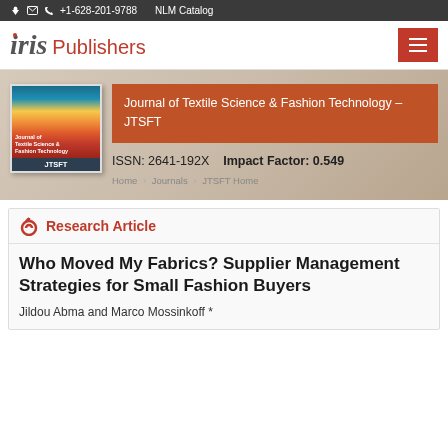+1-628-201-9788   NLM Catalog
[Figure (logo): Iris Publishers logo with red stylized 'i' and gray italic 'ris Publishers' text]
[Figure (photo): Journal cover image showing colorful thread spools with text 'Journal of Textile Science & Fashion Technology']
Journal of Textile Science & Fashion Technology – JTSFT
ISSN: 2641-192X   Impact Factor: 0.549
Home > Journals > JTSFT Home
Research Article
Who Moved My Fabrics? Supplier Management Strategies for Small Fashion Buyers
Jildou Abma and Marco Mossinkoff *